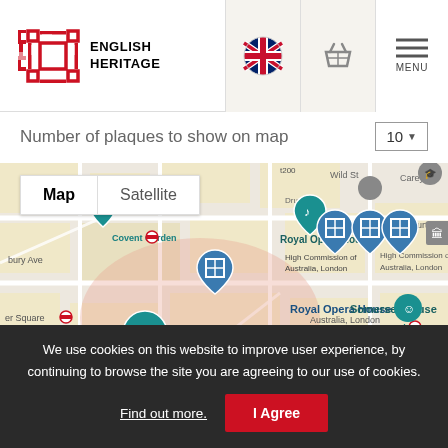ENGLISH HERITAGE
Number of plaques to show on map  10
[Figure (screenshot): Google Maps view centered on Covent Garden / Strand area of London showing Royal Opera House, Royal Courts of Justice, Somerset House, St Martin's Ln, High Commission of Australia London, Temple, with English Heritage blue plaque markers and a red location pin on The Savoy area. Map and Satellite toggle buttons visible in top-left.]
We use cookies on this website to improve user experience, by continuing to browse the site you are agreeing to our use of cookies. Find out more.  I Agree